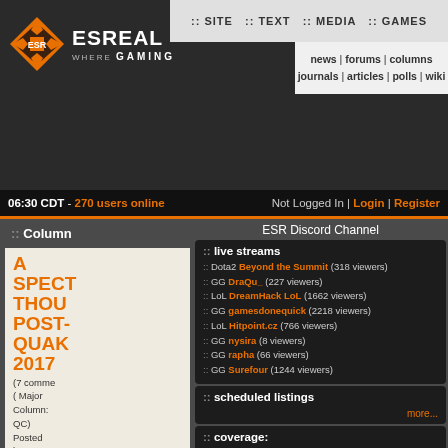:: SITE :: TEXT :: MEDIA :: GAMES | news | forums | columns | journals | articles | polls | wiki
[Figure (logo): ESR logo with orange diamond/cross icon and text ESREALITY WHERE GAMING]
06:30 CDT - 270 users online | Not Logged In | Login | Register
:: Column
ESR Discord Channel
:: live streams
:: Dota2 Beyond the Summit (318 viewers)
:: GG DraQu_ (227 viewers)
:: LoL DreamHack LoL (1662 viewers)
:: GG gamesdonequick (2218 viewers)
:: LoL Hitpoint.cz (766 viewers)
:: GG nysira (8 viewers)
:: GG rapha (66 viewers)
:: GG Surefour (1244 viewers)
:: scheduled listings
more...
:: coverage:
:: QuakeCon 2017 (8)
A SPECTATOR'S THOUGHTS POST-QUAKECON 2017
(7 comments) ( Major Column: QC) Posted by azxx @ 06:57 CDT, 27 August 2017 - iMsg